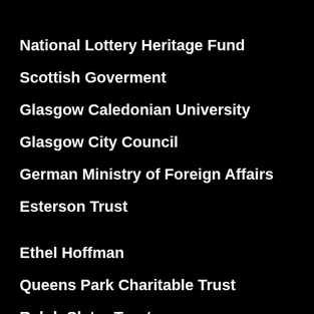National Lottery Heritage Fund
Scottish Goverment
Glasgow Caledonian University
Glasgow City Council
German Ministry of Foreign Affairs
Esterson Trust
Ethel Hoffman
Queens Park Charitable Trust
Ralph Slater Trust
Glasgow Jewish Community Trust